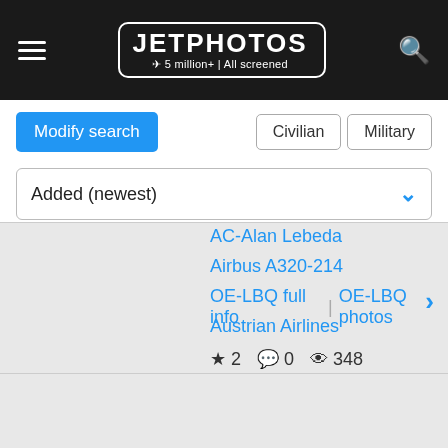JETPHOTOS — 5 million+ | All screened
Modify search
Civilian | Military
Added (newest)
AC-Alan Lebeda
Airbus A320-214
OE-LBQ full info | OE-LBQ photos
Austrian Airlines
★ 2  💬 0  👁 348